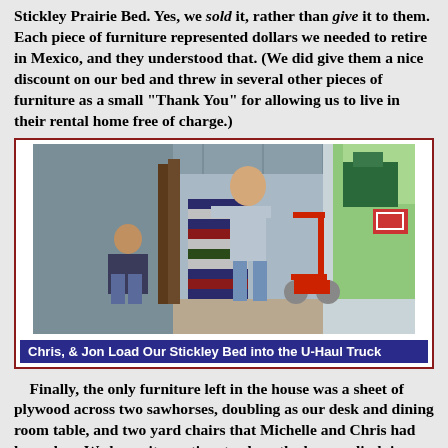Stickley Prairie Bed. Yes, we sold it, rather than give it to them. Each piece of furniture represented dollars we needed to retire in Mexico, and they understood that. (We did give them a nice discount on our bed and threw in several other pieces of furniture as a small "Thank You" for allowing us to live in their rental home free of charge.)
[Figure (photo): Two men loading a Stickley bed and blankets into the back of a U-Haul moving truck. One man stands holding striped blankets, another sits in the background. A red hand truck is visible on the right.]
Chris, & Jon Load Our Stickley Bed into the U-Haul Truck
Finally, the only furniture left in the house was a sheet of plywood across two sawhorses, doubling as our desk and dining room table, and two yard chairs that Michelle and Chris had loaned us. We knew it was time to clean the house, climb in